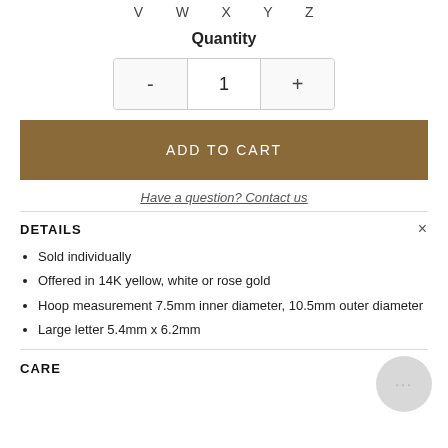V  W  X  Y  Z
Quantity
- 1 +
ADD TO CART
Have a question? Contact us
DETAILS
Sold individually
Offered in 14K yellow, white or rose gold
Hoop measurement 7.5mm inner diameter, 10.5mm outer diameter
Large letter 5.4mm x 6.2mm
CARE